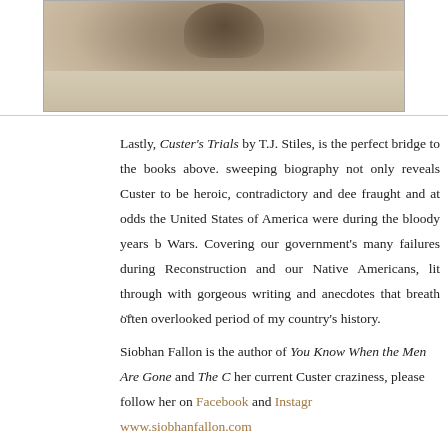[Figure (photo): Historical sepia-toned photograph showing a figure lying on bare ground, likely a Civil War or Indian Wars era image.]
Lastly, Custer's Trials by T.J. Stiles, is the perfect bridge to the books above. sweeping biography not only reveals Custer to be heroic, contradictory and dee fraught and at odds the United States of America were during the bloody years b Wars. Covering our government's many failures during Reconstruction and our Native Americans, lit through with gorgeous writing and anecdotes that breath often overlooked period of my country's history.
...
Siobhan Fallon is the author of You Know When the Men Are Gone and The C her current Custer craziness, please follow her on Facebook and Instagr www.siobhanfallon.com